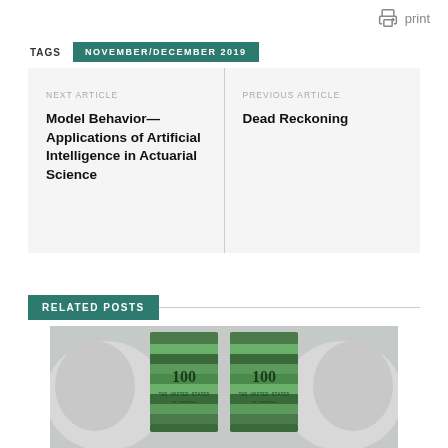print
TAGS  NOVEMBER/DECEMBER 2019
NEXT ARTICLE
Model Behavior—Applications of Artificial Intelligence in Actuarial Science
PREVIOUS ARTICLE
Dead Reckoning
RELATED POSTS
[Figure (photo): Robot hands holding cylinders of $100 bills stacked as money rolls, with white robotic gears/hands in background, green US currency visible]